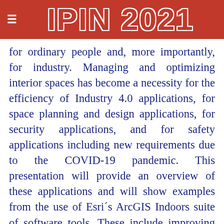≡ IPIN 2021
for ordinary people and, more importantly, for industry. Managing and optimizing interior spaces has become a necessity for the efficiency of Industry 4.0 applications, for space planning and design applications, for security applications, and for safety applications including new requirements due to the COVID-19 pandemic. This presentation will provide an overview of these applications and will show examples from the use of Esri´s ArcGIS Indoors suite of software tools. These include improving space management, creating more productive workspaces, increased speed of service delivery, and reopening workplaces safely. Buildings are digitized in 3D which provides the cartographic framework for these applications, all of which depend on indoor positioning and some on navigation. The presentation encourages indoor positioning and navigation researchers to continue pushing the limits,